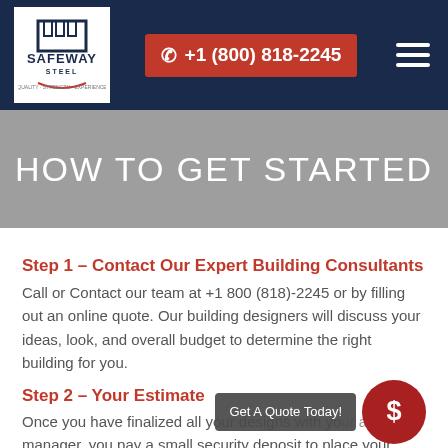Safeway Steel | +1 (800) 818-2245
HOW TO GET STARTED
Step 1 – Contact Our Expert Building Consultants
Call or Contact our team at +1 800 (818)-2245 or by filling out an online quote. Our building designers will discuss your ideas, look, and overall budget to determine the right building for you.
Step 2 – Your Estimate
Once you have finalized all your designs with your account manager, you pay a small security deposit to place your
Get A Quote Today!